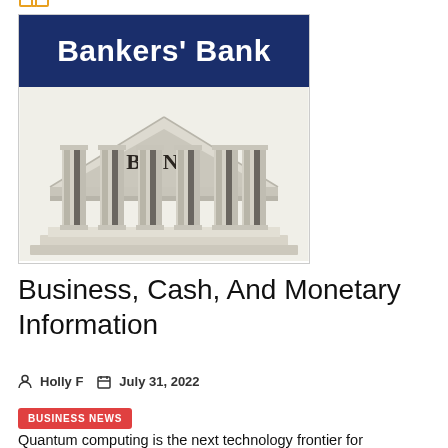[Figure (logo): Bankers' Bank logo with dark blue header showing 'Bankers' Bank' in white bold text, and a white banner below with an illustrated bank building with columns labeled BANK]
Business, Cash, And Monetary Information
Holly F   July 31, 2022
BUSINESS NEWS
Quantum computing is the next technology frontier for